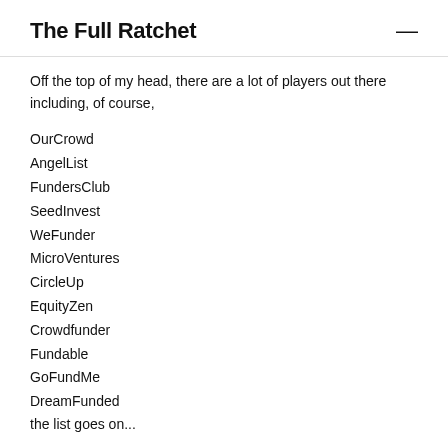The Full Ratchet
Off the top of my head, there are a lot of players out there including, of course,
OurCrowd
AngelList
FundersClub
SeedInvest
WeFunder
MicroVentures
CircleUp
EquityZen
Crowdfunder
Fundable
GoFundMe
DreamFunded
the list goes on...